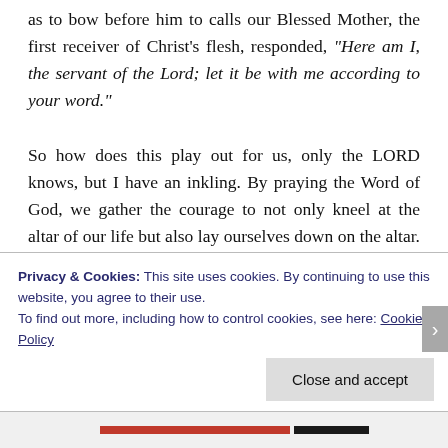as to bow before him to calls our Blessed Mother, the first receiver of Christ's flesh, responded, "Here am I, the servant of the Lord; let it be with me according to your word."

So how does this play out for us, only the LORD knows, but I have an inkling. By praying the Word of God, we gather the courage to not only kneel at the altar of our life but also lay ourselves down on the altar. The humility of our Blessed Mother mirrors to us how to do that, My soul magnifies the LORD, and my spirit rejoices in God, my Saviour. As we treasure reading and meditating on the Sacred
Privacy & Cookies: This site uses cookies. By continuing to use this website, you agree to their use.
To find out more, including how to control cookies, see here: Cookie Policy